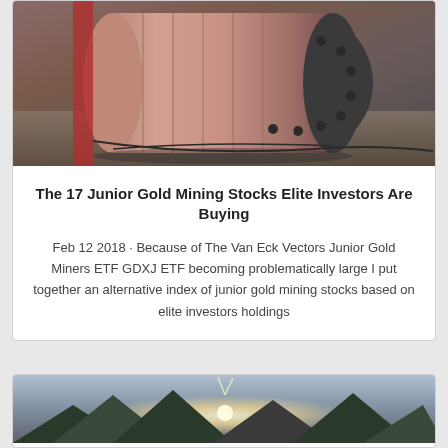[Figure (photo): Industrial mining equipment - a large cylindrical ball mill at a gold mining facility]
The 17 Junior Gold Mining Stocks Elite Investors Are Buying
Feb 12 2018 · Because of The Van Eck Vectors Junior Gold Miners ETF GDXJ ETF becoming problematically large I put together an alternative index of junior gold mining stocks based on elite investors holdings
[Figure (photo): Mountain landscape with sunlight shining over the peaks, likely a mining site location]